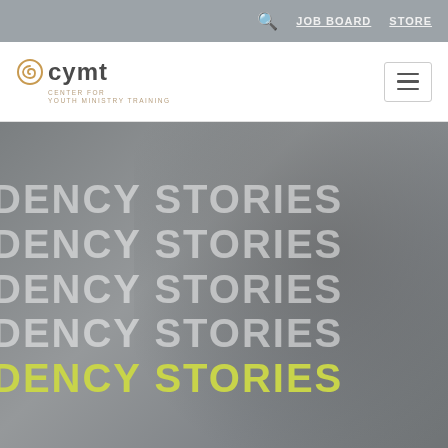JOB BOARD   STORE
[Figure (logo): CYMT - Center for Youth Ministry Training logo with circular icon]
[Figure (photo): Website screenshot of CYMT website hero section showing a person with hands on head in distress, with repeating text 'DENCY STORIES' in white and the last line in yellow-green, overlaid on a dark grey photo background]